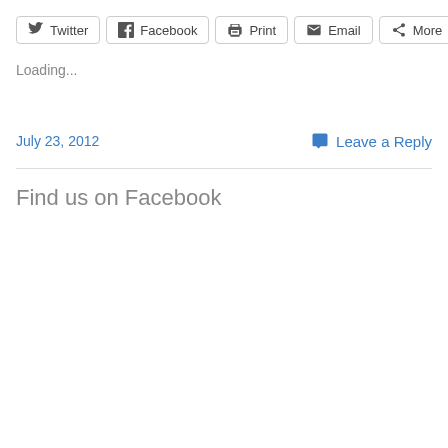[Figure (screenshot): Social sharing buttons row: Twitter, Facebook, Print, Email, More]
Loading...
July 23, 2012
Leave a Reply
Find us on Facebook